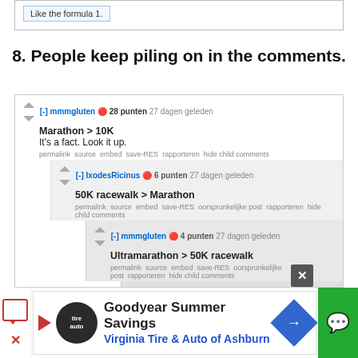Like the formula 1.
8. People keep piling on in the comments.
[-] mmmgluten 28 punten 27 dagen geleden
Marathon > 10K
It's a fact. Look it up.
permalink source embed save-RES rapporteren hide child comments
[-] IxodesRicinus 6 punten 27 dagen geleden
50K racewalk > Marathon
permalink source embed save-RES oorspronkelijke post rapporteren hide child comments
[-] mmmgluten 4 punten 27 dagen geleden
Ultramarathon > 50K racewalk
permalink source embed save-RES oorspronkelijke post rapporteren hide child comments
[-] IxodesRicinus 4 punten 27 dagen geleden
Whoa whoa WHOA. Non-olympic races stay outta this.
permalink source embed save-RES oorspronkelijke post rapporteren
[Figure (screenshot): Advertisement banner: Goodyear Summer Savings - Virginia Tire & Auto of Ashburn]